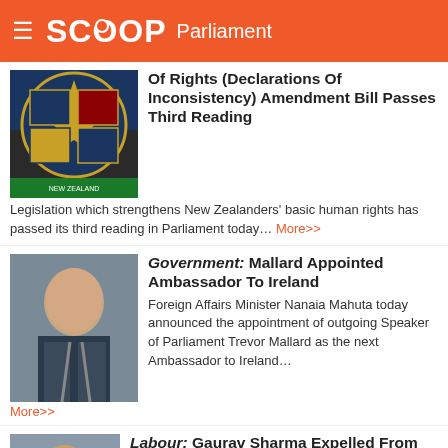SCOOP Parliament
Of Rights (Declarations Of Inconsistency) Amendment Bill Passes Third Reading
Legislation which strengthens New Zealanders' basic human rights has passed its third reading in Parliament today... More>>
Government: Mallard Appointed Ambassador To Ireland
Foreign Affairs Minister Nanaia Mahuta today announced the appointment of outgoing Speaker of Parliament Trevor Mallard as the next Ambassador to Ireland... More>>
Labour: Gaurav Sharma Expelled From Caucus
The Labour Caucus has voted to expel Dr Gaurav Sharma from caucus, effectively immediately. The Caucus also voted to refer the matter to the New Zealand Council of